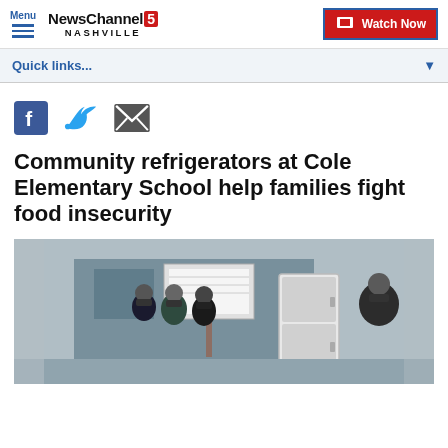Menu | NewsChannel 5 NASHVILLE | Watch Now
Quick links...
[Figure (other): Social media sharing icons: Facebook, Twitter, and Email]
Community refrigerators at Cole Elementary School help families fight food insecurity
[Figure (photo): People wearing masks standing outside near a community refrigerator at Cole Elementary School]